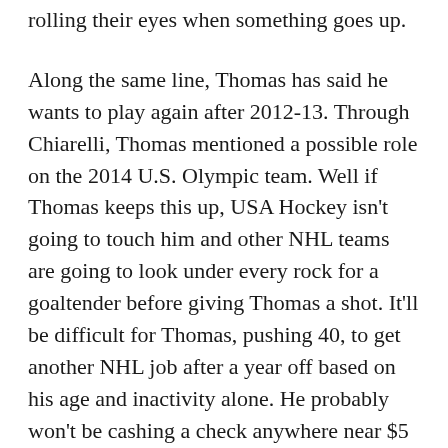rolling their eyes when something goes up.
Along the same line, Thomas has said he wants to play again after 2012-13. Through Chiarelli, Thomas mentioned a possible role on the 2014 U.S. Olympic team. Well if Thomas keeps this up, USA Hockey isn't going to touch him and other NHL teams are going to look under every rock for a goaltender before giving Thomas a shot. It'll be difficult for Thomas, pushing 40, to get another NHL job after a year off based on his age and inactivity alone. He probably won't be cashing a check anywhere near $5 million again. And with every post, he's pushing himself closer and closer to training-camp tryout status.
Considering the lack of popularity, and in some cases hateful nature, of Thomas' positions, it's somewhat